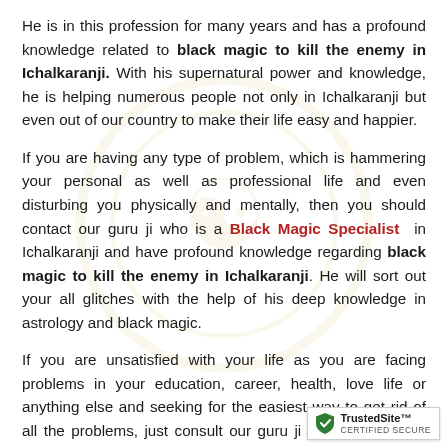He is in this profession for many years and has a profound knowledge related to black magic to kill the enemy in Ichalkaranji. With his supernatural power and knowledge, he is helping numerous people not only in Ichalkaranji but even out of our country to make their life easy and happier.
If you are having any type of problem, which is hammering your personal as well as professional life and even disturbing you physically and mentally, then you should contact our guru ji who is a Black Magic Specialist in Ichalkaranji and have profound knowledge regarding black magic to kill the enemy in Ichalkaranji. He will sort out your all glitches with the help of his deep knowledge in astrology and black magic.
If you are unsatisfied with your life as you are facing problems in your education, career, health, love life or anything else and seeking for the easiest way to get rid of all the problems, just consult our guru ji and give you the effective solution. And within a few...